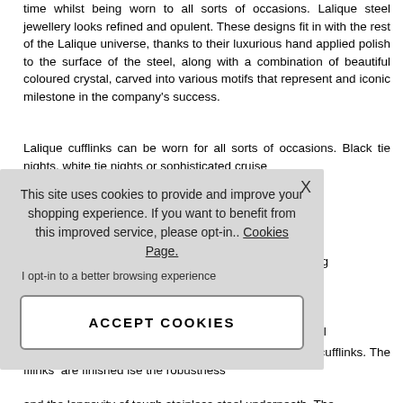time whilst being worn to all sorts of occasions. Lalique steel jewellery looks refined and opulent. These designs fit in with the rest of the Lalique universe, thanks to their luxurious hand applied polish to the surface of the steel, along with a combination of beautiful coloured crystal, carved into various motifs that represent and iconic milestone in the company's success.
Lalique cufflinks can be worn for all sorts of occasions. Black tie nights, white tie nights or sophisticated cruise
u are a gentleman m Lalique to add n are a lady looking al man in your life, ess on every level. ghest quality steel stal or black crystal g to smart attire.
[Figure (screenshot): Cookie consent overlay with text 'This site uses cookies to provide and improve your shopping experience. If you want to benefit from this improved service, please opt-in.. Cookies Page.' with an X close button, an opt-in text, and an ACCEPT COOKIES button.]
ellery, we are most nan's cufflinks. The fflinks are finished ise the robustness and the longevity of tough stainless steel underneath. The